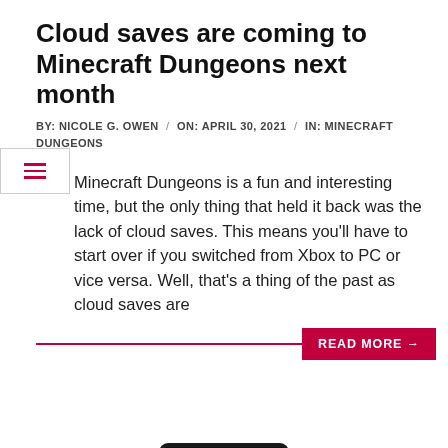Cloud saves are coming to Minecraft Dungeons next month
BY: NICOLE G. OWEN / ON: APRIL 30, 2021 / IN: MINECRAFT DUNGEONS
Minecraft Dungeons is a fun and interesting time, but the only thing that held it back was the lack of cloud saves. This means you'll have to start over if you switched from Xbox to PC or vice versa. Well, that's a thing of the past as cloud saves are
[Figure (photo): Hands holding a smartphone horizontally displaying a dark action game (Diablo-style dungeon crawler) with red glowing effects on screen]